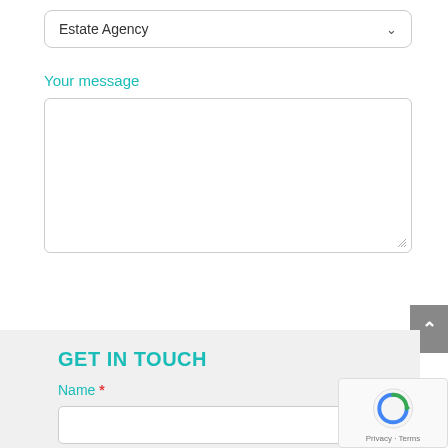[Figure (screenshot): Dropdown select field showing 'Estate Agency' with a chevron arrow on the right, styled with rounded border]
Your message
[Figure (screenshot): Empty textarea input field with resize handle in bottom-right corner]
[Figure (screenshot): Teal rounded SUBMIT button with uppercase white text]
[Figure (screenshot): Gray scroll-to-top button with upward chevron arrow on the right edge]
GET IN TOUCH
Name *
[Figure (screenshot): Empty name text input field with rounded border]
[Figure (screenshot): Google reCAPTCHA widget showing logo and Privacy - Terms links]